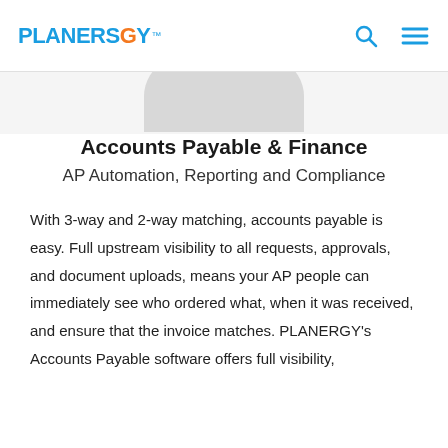PLANERGY™
[Figure (illustration): Partial rounded gray shape visible at top of content area, suggesting a person or profile image cropped at the top]
Accounts Payable & Finance
AP Automation, Reporting and Compliance
With 3-way and 2-way matching, accounts payable is easy. Full upstream visibility to all requests, approvals, and document uploads, means your AP people can immediately see who ordered what, when it was received, and ensure that the invoice matches. PLANERGY's Accounts Payable software offers full visibility,